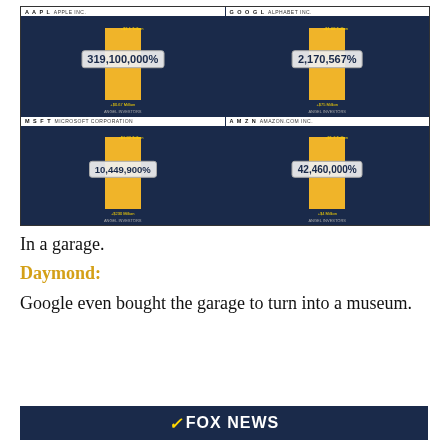[Figure (infographic): Four-panel infographic showing stock return percentages for AAPL (Apple Inc.) 319,100,000%, GOOGL (Alphabet Inc.) 2,170,567%, MSFT (Microsoft Corporation) 10,449,900%, AMZN (Amazon.com Inc.) 42,460,000%, each with bar charts comparing angel investor vs current valuations.]
In a garage.
Daymond:
Google even bought the garage to turn into a museum.
FOX NEWS